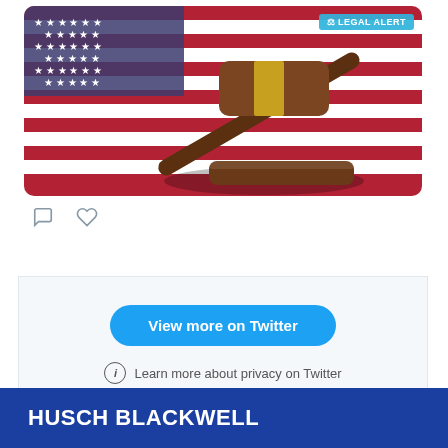[Figure (screenshot): A screenshot of a Twitter embedded card showing a legal alert image with a gavel and American flag background, with a 'LEGAL ALERT' badge, comment and like icons, a 'View more on Twitter' button, and a privacy note.]
View more on Twitter
Learn more about privacy on Twitter
HUSCH BLACKWELL